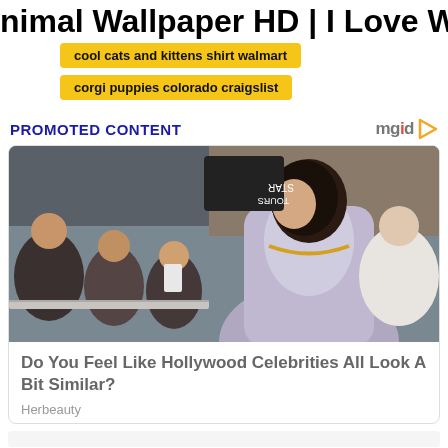nimal Wallpaper HD | I Love Wallpap
cool cats and kittens shirt walmart
corgi puppies colorado craigslist
PROMOTED CONTENT
[Figure (photo): A woman with long dark hair wearing a backless grey dress and gold necklace at a public event, surrounded by fans and crowd]
Do You Feel Like Hollywood Celebrities All Look A Bit Similar?
Herbeauty